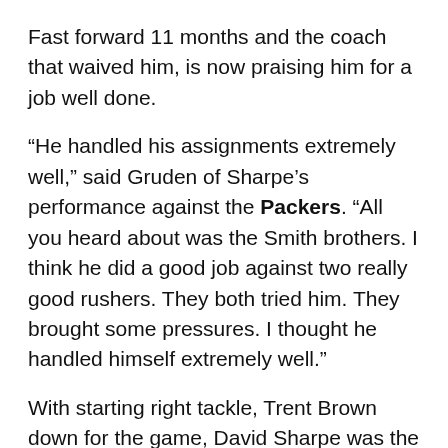Fast forward 11 months and the coach that waived him, is now praising him for a job well done.
“He handled his assignments extremely well,” said Gruden of Sharpe’s performance against the Packers. “All you heard about was the Smith brothers. I think he did a good job against two really good rushers. They both tried him. They brought some pressures. I thought he handled himself extremely well.”
With starting right tackle, Trent Brown down for the game, David Sharpe was the next man up in favor of second-year man Brandon Parker. Only his third career start in four seasons, it was a great opportunity for Sharpe to prove his worth to his coach.
[Figure (photo): Black rectangular image at the bottom of the page]